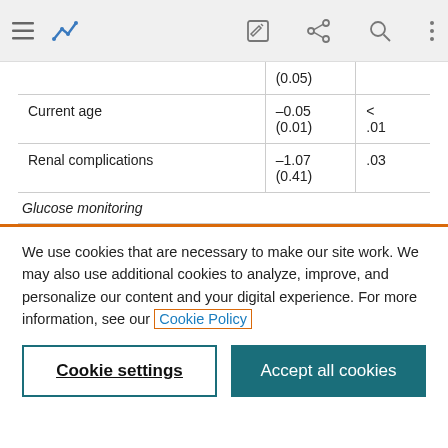[Figure (screenshot): Top navigation bar with hamburger menu, chart icon, edit icon, share icon, search icon, and more options icon]
|  |  |  |
| --- | --- | --- |
|  | (0.05) |  |
| Current age | –0.05
(0.01) | <
.01 |
| Renal complications | –1.07
(0.41) | .03 |
| Glucose monitoring |  |  |
We use cookies that are necessary to make our site work. We may also use additional cookies to analyze, improve, and personalize our content and your digital experience. For more information, see our Cookie Policy
Cookie settings
Accept all cookies